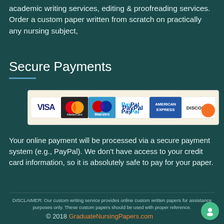academic writing services, editing & proofreading services. Order a custom paper written from scratch on practically any nursing subject,
Secure Payments
[Figure (other): Payment logos strip showing VISA, MasterCard, Maestro, PayPal, American Express, and Discover card logos on a cream/beige background]
Your online payment will be processed via a secure payment system (e.g., PayPal). We don't have access to your credit card information, so it is absolutely safe to pay for your paper.
DISCLAIMER: Our custom writing service provides online custom written papers for assistance purposes only. These custom papers should be used with proper reference.
© 2018 GraduateNursingPapers.com